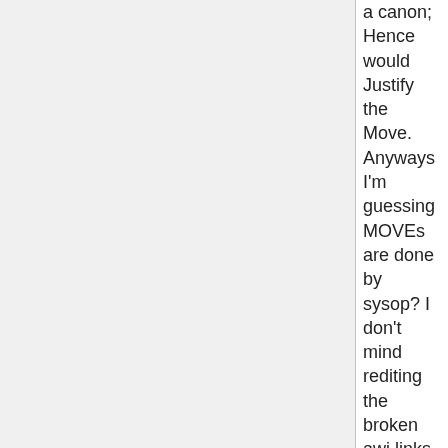a canon; Hence would Justify the Move. Anyways I'm guessing MOVEs are done by sysop? I don't mind rediting the broken awi links
~ ~ ~ ~ Red = 00:28, 7 January 2007 (EST)
It's not canon until they provide the name of the organization itself in the show. AWI/OWI is just a term coined by fans